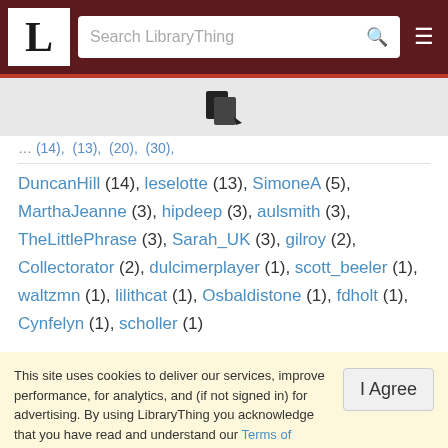LibraryThing navigation bar with logo, search field, and hamburger menu
... (14), ... (13), ... (30), ... (20)
DuncanHill (14), leselotte (13), SimoneA (5), MarthaJeanne (3), hipdeep (3), aulsmith (3), TheLittlePhrase (3), Sarah_UK (3), gilroy (2), Collectorator (2), dulcimerplayer (1), scott_beeler (1), waltzmn (1), lilithcat (1), Osbaldistone (1), fdholt (1), Cynfelyn (1), scholler (1)
This site uses cookies to deliver our services, improve performance, for analytics, and (if not signed in) for advertising. By using LibraryThing you acknowledge that you have read and understand our Terms of Service and Privacy Policy. Your use of the site and services is subject to these policies and terms.